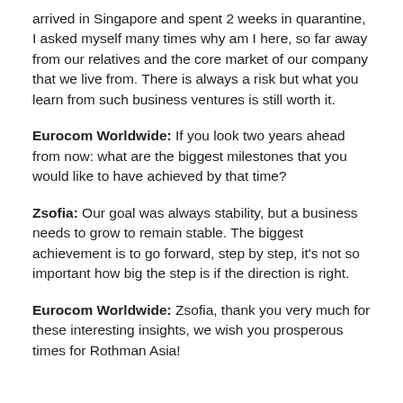arrived in Singapore and spent 2 weeks in quarantine, I asked myself many times why am I here, so far away from our relatives and the core market of our company that we live from. There is always a risk but what you learn from such business ventures is still worth it.
Eurocom Worldwide: If you look two years ahead from now: what are the biggest milestones that you would like to have achieved by that time?
Zsofia: Our goal was always stability, but a business needs to grow to remain stable. The biggest achievement is to go forward, step by step, it's not so important how big the step is if the direction is right.
Eurocom Worldwide: Zsofia, thank you very much for these interesting insights, we wish you prosperous times for Rothman Asia!